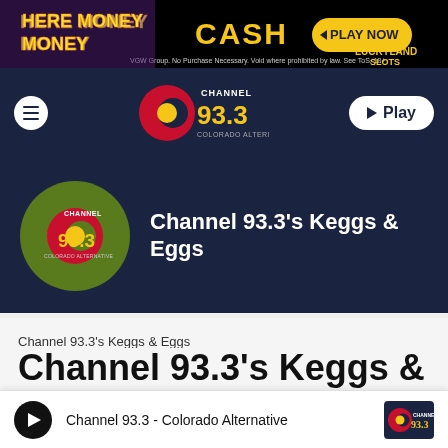[Figure (screenshot): Advertisement banner for LuckyLand Slots with text 'Here Money Money', 'CASH', and 'PLAY NOW' button on black background]
[Figure (logo): Channel 93.3 Colorado Alternative radio station logo in navigation bar with hamburger menu and Play button]
[Figure (screenshot): Show header banner with Channel 93.3 logo in green circle and show title 'Channel 93.3's Keggs & Eggs' on dark navy background]
Channel 93.3's Keggs & Eggs
Channel 93.3's Keggs &
[Figure (logo): Bottom player bar showing play button and 'Channel 93.3 - Colorado Alternative' label with station logo]